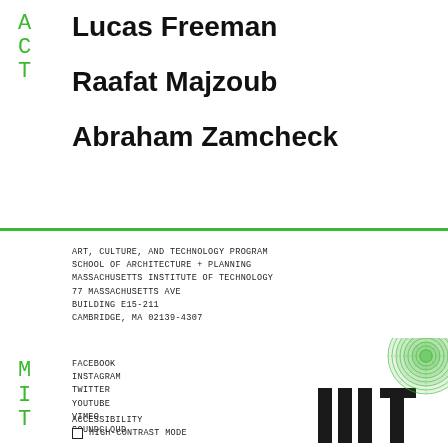Lucas Freeman
Raafat Majzoub
Abraham Zamcheck
ART, CULTURE, AND TECHNOLOGY PROGRAM
SCHOOL OF ARCHITECTURE + PLANNING
MASSACHUSETTS INSTITUTE OF TECHNOLOGY
77 MASSACHUSETTS AVE
BUILDING E15-211
CAMBRIDGE, MA 02139-4307
FACEBOOK
INSTAGRAM
TWITTER
YOUTUBE
VIMEO
SOUNDCLOUD
ACCESSIBILITY
☐  HIGH-CONTRAST MODE